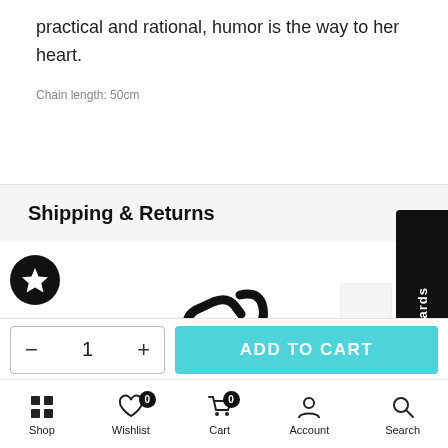practical and rational, humor is the way to her heart.
Chain length: 50cm
Shipping & Returns
[Figure (illustration): Black circular badge with white star icon]
[Figure (illustration): Chain link icon in black]
[Figure (illustration): Check rewards black vertical sidebar tab]
- 1 +
ADD TO CART
Shop  Wishlist  Cart  Account  Search